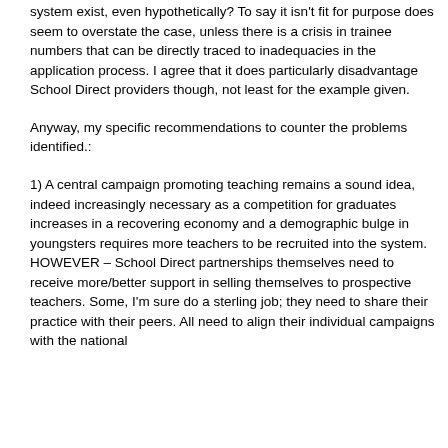system exist, even hypothetically? To say it isn't fit for purpose does seem to overstate the case, unless there is a crisis in trainee numbers that can be directly traced to inadequacies in the application process. I agree that it does particularly disadvantage School Direct providers though, not least for the example given.
Anyway, my specific recommendations to counter the problems identified.:
1) A central campaign promoting teaching remains a sound idea, indeed increasingly necessary as a competition for graduates increases in a recovering economy and a demographic bulge in youngsters requires more teachers to be recruited into the system. HOWEVER – School Direct partnerships themselves need to receive more/better support in selling themselves to prospective teachers. Some, I'm sure do a sterling job; they need to share their practice with their peers. All need to align their individual campaigns with the national